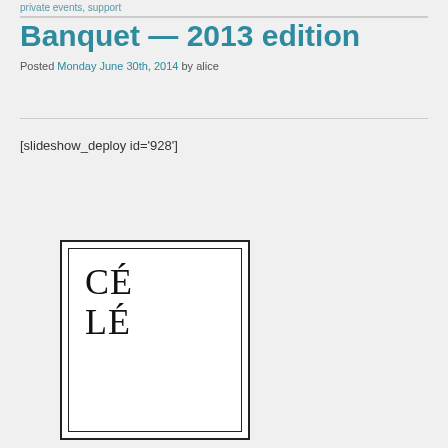private events, support
Banquet — 2013 edition
Posted Monday June 30th, 2014 by alice
[slideshow_deploy id='928']
[Figure (illustration): Partial view of a decorative book or card cover with double border showing the text 'CÉ LÉ' in large serif font]